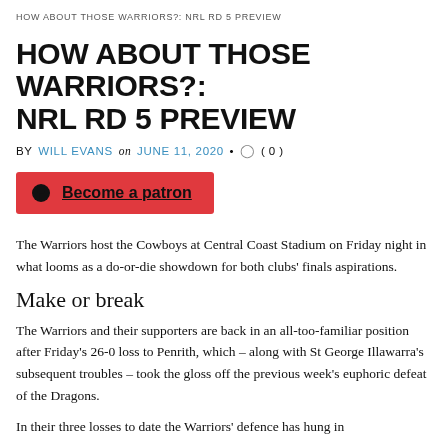HOW ABOUT THOSE WARRIORS?: NRL RD 5 PREVIEW
HOW ABOUT THOSE WARRIORS?: NRL RD 5 PREVIEW
BY WILL EVANS on JUNE 11, 2020 • ( 0 )
[Figure (other): Become a patron button with red background and Patreon logo]
The Warriors host the Cowboys at Central Coast Stadium on Friday night in what looms as a do-or-die showdown for both clubs' finals aspirations.
Make or break
The Warriors and their supporters are back in an all-too-familiar position after Friday's 26-0 loss to Penrith, which – along with St George Illawarra's subsequent troubles – took the gloss off the previous week's euphoric defeat of the Dragons.
In their three losses to date the Warriors' defence has hung in